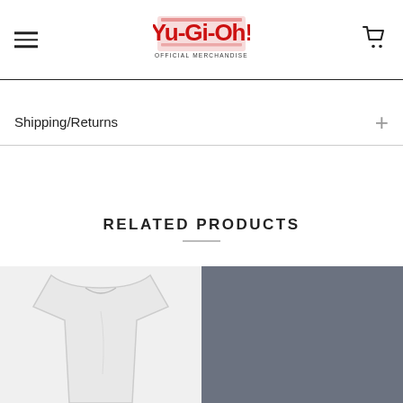Yu-Gi-Oh! Official Merchandise – navigation header with hamburger menu and cart icon
Shipping/Returns
RELATED PRODUCTS
[Figure (photo): White t-shirt product photo (partially visible)]
[Figure (photo): Gray/dark product image (partially visible)]